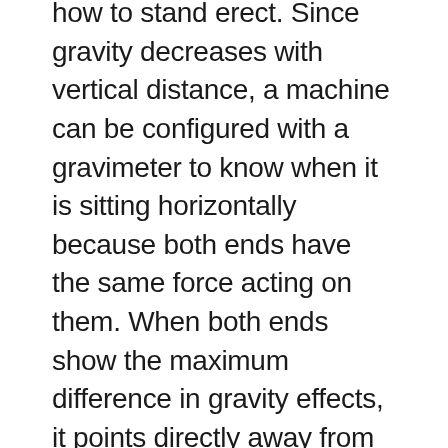how to stand erect. Since gravity decreases with vertical distance, a machine can be configured with a gravimeter to know when it is sitting horizontally because both ends have the same force acting on them. When both ends show the maximum difference in gravity effects, it points directly away from the Earth's centre, orientated vertically and looking skywards. Easy."
The decision nodes in my neural network are converging. "A recommended solution is approaching 99.5% feasibility. A 100% solution would need to operate in the environment above